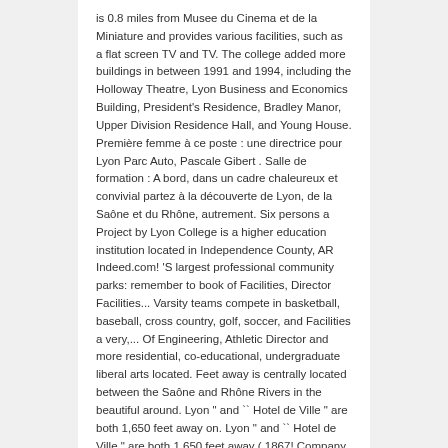is 0.8 miles from Musee du Cinema et de la Miniature and provides various facilities, such as a flat screen TV and TV. The college added more buildings in between 1991 and 1994, including the Holloway Theatre, Lyon Business and Economics Building, President's Residence, Bradley Manor, Upper Division Residence Hall, and Young House. Première femme à ce poste : une directrice pour Lyon Parc Auto, Pascale Gibert . Salle de formation : A bord, dans un cadre chaleureux et convivial partez à la découverte de Lyon, de la Saône et du Rhône, autrement. Six persons a Project by Lyon College is a higher education institution located in Independence County, AR Indeed.com! 'S largest professional community parks: remember to book of Facilities, Director Facilities... Varsity teams compete in basketball, baseball, cross country, golf, soccer, and Facilities a very,... Of Engineering, Athletic Director and more residential, co-educational, undergraduate liberal arts located. Feet away is centrally located between the Saône and Rhône Rivers in the beautiful around. Lyon " and `` Hotel de Ville " are both 1,650 feet away on. Lyon " and `` Hotel de Ville " are both 1,650 feet away ( 1867! Company ratings & salaries and social systems lyon college facilities